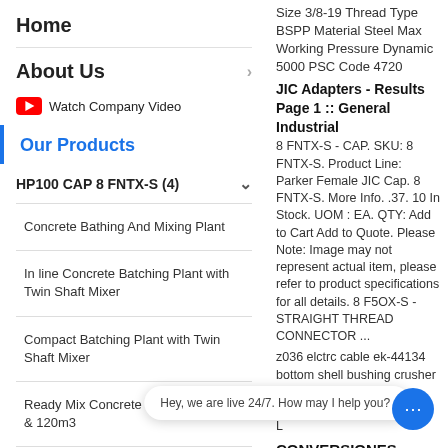Home
About Us
Watch Company Video
Our Products
HP100 CAP 8 FNTX-S (4)
Concrete Bathing And Mixing Plant
In line Concrete Batching Plant with Twin Shaft Mixer
Compact Batching Plant with Twin Shaft Mixer
Ready Mix Concrete Plant 30, 45,60,90 & 120m3
Reversible mixer (4)
Size 3/8-19 Thread Type BSPP Material Steel Max Working Pressure Dynamic 5000 PSC Code 4720
JIC Adapters - Results Page 1 :: General Industrial
8 FNTX-S - CAP. SKU: 8 FNTX-S. Product Line: Parker Female JIC Cap. 8 FNTX-S. More Info. .37. 10 In Stock. UOM : EA. QTY: Add to Cart Add to Quote. Please Note: Image may not represent actual item, please refer to product specifications for all details. 8 F5OX-S - STRAIGHT THREAD CONNECTOR ...
z036 elctrc cable ek-44134 bottom shell bushing crusher te brk al L CONVERSIONES ADAPTARORES
Hey, we are live 24/7. How may I help you?